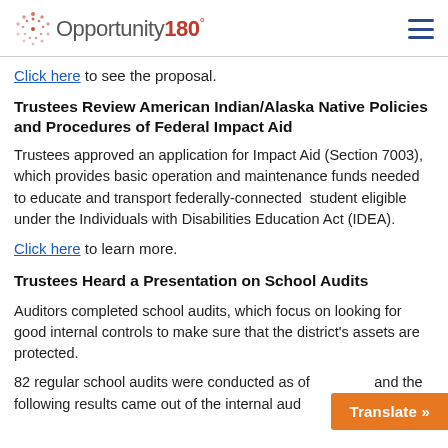Opportunity180°
Click here to see the proposal.
Trustees Review American Indian/Alaska Native Policies and Procedures of Federal Impact Aid
Trustees approved an application for Impact Aid (Section 7003), which provides basic operation and maintenance funds needed to educate and transport federally-connected  student eligible under the Individuals with Disabilities Education Act (IDEA).
Click here to learn more.
Trustees Heard a Presentation on School Audits
Auditors completed school audits, which focus on looking for good internal controls to make sure that the district's assets are protected.
82 regular school audits were conducted as of [date] and the following results came out of the internal aud…